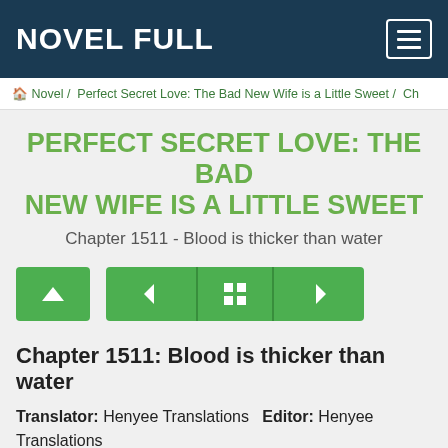NOVEL FULL
Novel / Perfect Secret Love: The Bad New Wife is a Little Sweet / Ch
PERFECT SECRET LOVE: THE BAD NEW WIFE IS A LITTLE SWEET
Chapter 1511 - Blood is thicker than water
[Figure (other): Navigation buttons: up arrow, previous chapter, chapter list, next chapter]
Chapter 1511: Blood is thicker than water
Translator: Henyee Translations  Editor: Henyee Translations